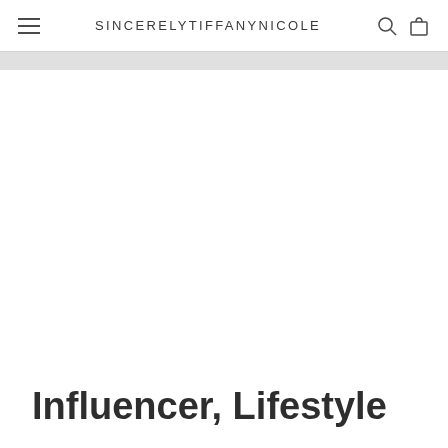SINCERELYTIFFANYNICOLE
Influencer, Lifestyle